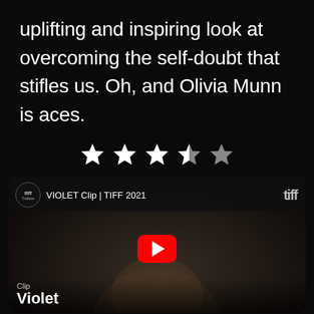uplifting and inspiring look at overcoming the self-doubt that stifles us. Oh, and Olivia Munn is aces.
[Figure (other): Star rating: 4 out of 5 stars (3 full white stars, 1 half white/grey star, 1 grey empty star)]
[Figure (screenshot): YouTube video thumbnail for 'VIOLET Clip | TIFF 2021' from TIFF Trailers channel, showing a woman's face in dark lighting with a red YouTube play button overlay. Bottom shows 'Clip' label and title 'Violet']